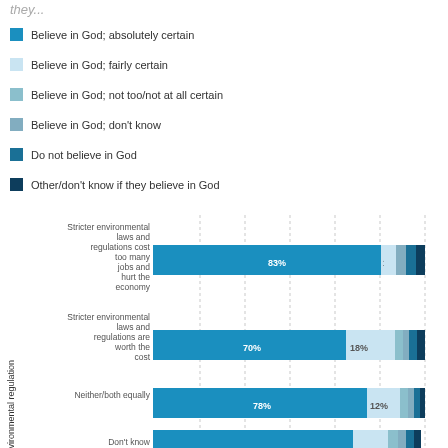they...
Believe in God; absolutely certain
Believe in God; fairly certain
Believe in God; not too/not at all certain
Believe in God; don't know
Do not believe in God
Other/don't know if they believe in God
[Figure (stacked-bar-chart): Views about environmental regulation]